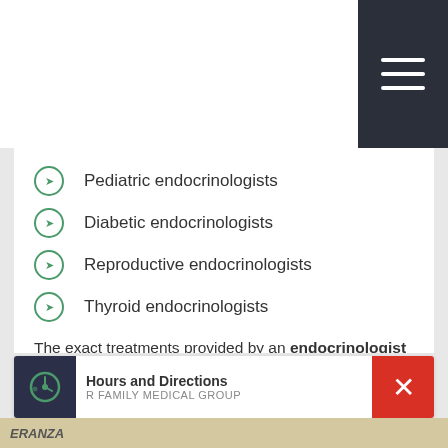[Figure (screenshot): Top navigation bar with dark hamburger menu icon on right]
Pediatric endocrinologists
Diabetic endocrinologists
Reproductive endocrinologists
Thyroid endocrinologists
The exact treatments provided by an endocrinologist will vary depending on the specific endocrine disorder that is present. Possible treatments include surgery, medication, hormone stimulation and lifestyle counseling.
Request endocrinology treatment today: call (210) 361-0581 or contact R Family Medical Group online .
Hours and Directions
R FAMILY MEDICAL GROUP